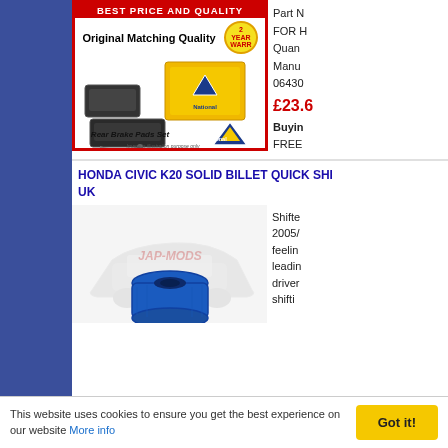[Figure (photo): Rear Brake Pads Set product image with red border, yellow box, and National brand logo. Shows brake pad parts and packaging.]
Part N
FOR H
Quan
Manu
06430
£23.6
Buyin
FREE
HONDA CIVIC K20 SOLID BILLET QUICK SHI UK
[Figure (photo): Blue billet quick shifter component for Honda Civic K20, with JAP-MODS watermark and car illustration in background.]
Shifte 2005/ feelin leadin driver shifti
This website uses cookies to ensure you get the best experience on our website More info